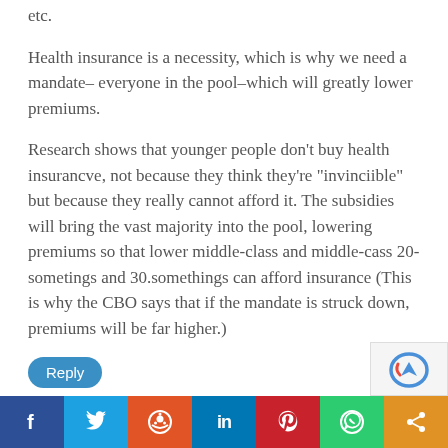etc.
Health insurance is a necessity, which is why we need a mandate– everyone in the pool–which will greatly lower premiums.
Research shows that younger people don't buy health insurancve, not because they think they're "invinciible" but because they really cannot afford it. The subsidies will bring the vast majority into the pool, lowering premiums so that lower middle-class and middle-cass 20-sometings and 30.somethings can afford insurance (This is why the CBO says that if the mandate is struck down, premiums will be far higher.)
Reply